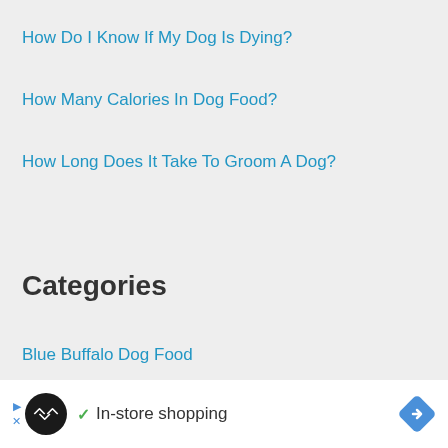How Do I Know If My Dog Is Dying?
How Many Calories In Dog Food?
How Long Does It Take To Groom A Dog?
Categories
Blue Buffalo Dog Food
[Figure (other): Advertisement banner with circular logo, checkmark, 'In-store shopping' text, and navigation arrow icon]